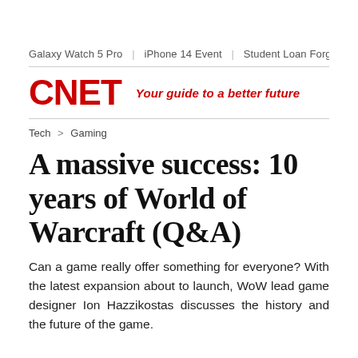Galaxy Watch 5 Pro  |  iPhone 14 Event  |  Student Loan Forgiveness  |  B
[Figure (logo): CNET logo in red bold text with tagline 'Your guide to a better future' in red italic]
Tech > Gaming
A massive success: 10 years of World of Warcraft (Q&A)
Can a game really offer something for everyone? With the latest expansion about to launch, WoW lead game designer Ion Hazzikostas discusses the history and the future of the game.